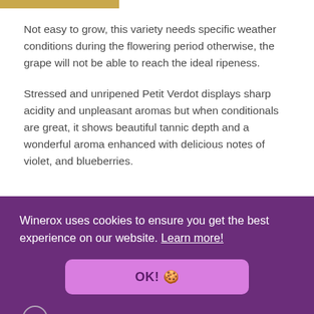Not easy to grow, this variety needs specific weather conditions during the flowering period otherwise, the grape will not be able to reach the ideal ripeness.
Stressed and unripened Petit Verdot displays sharp acidity and unpleasant aromas but when conditionals are great, it shows beautiful tannic depth and a wonderful aroma enhanced with delicious notes of violet, and blueberries.
Winerox uses cookies to ensure you get the best experience on our website. Learn more!